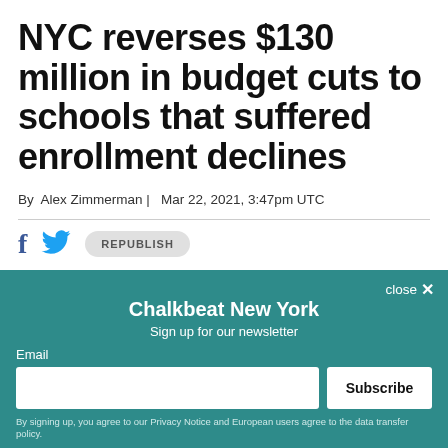NYC reverses $130 million in budget cuts to schools that suffered enrollment declines
By  Alex Zimmerman |  Mar 22, 2021, 3:47pm UTC
[Figure (infographic): Social sharing icons: Facebook, Twitter, and a Republish button]
[Figure (photo): Partial image strip at top of article photo]
Chalkbeat New York
Sign up for our newsletter
Email
Subscribe
By signing up, you agree to our Privacy Notice and European users agree to the data transfer policy.